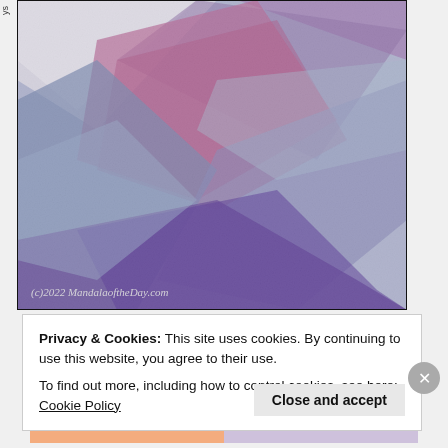[Figure (photo): Abstract watercolor/colored pencil artwork with purple, blue, pink and white geometric shapes. Copyright text reads '(c)2022 MandalaoftheDay.com' in the bottom left corner of the image.]
ys
Privacy & Cookies: This site uses cookies. By continuing to use this website, you agree to their use.
To find out more, including how to control cookies, see here: Cookie Policy
Close and accept